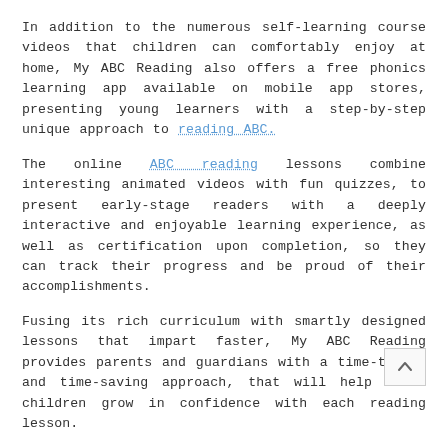In addition to the numerous self-learning course videos that children can comfortably enjoy at home, My ABC Reading also offers a free phonics learning app available on mobile app stores, presenting young learners with a step-by-step unique approach to reading ABC.
The online ABC reading lessons combine interesting animated videos with fun quizzes, to present early-stage readers with a deeply interactive and enjoyable learning experience, as well as certification upon completion, so they can track their progress and be proud of their accomplishments.
Fusing its rich curriculum with smartly designed lessons that impart faster, My ABC Reading provides parents and guardians with a time-tested and time-saving approach, that will help their children grow in confidence with each reading lesson.
Anyone interested in learning more about My ABC Reading